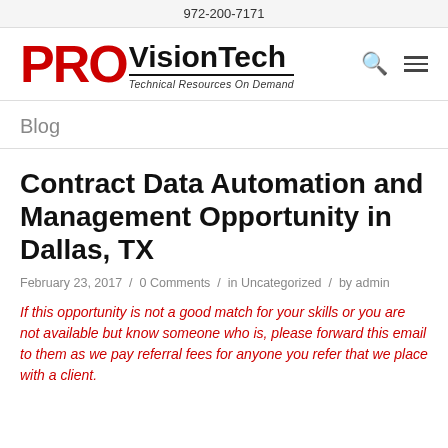972-200-7171
[Figure (logo): PRO VisionTech logo with tagline 'Technical Resources On Demand']
Blog
Contract Data Automation and Management Opportunity in Dallas, TX
February 23, 2017 / 0 Comments / in Uncategorized / by admin
If this opportunity is not a good match for your skills or you are not available but know someone who is, please forward this email to them as we pay referral fees for anyone you refer that we place with a client.